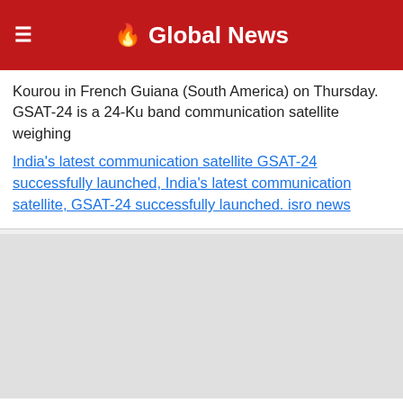🔥 Global News
Kourou in French Guiana (South America) on Thursday. GSAT-24 is a 24-Ku band communication satellite weighing
India's latest communication satellite GSAT-24 successfully launched, India's latest communication satellite, GSAT-24 successfully launched. isro news
[Figure (photo): Article image placeholder for GSAT-24 satellite launch news]
On Wednesday, European space agency Arianespace will put orbit two communication satellites belonging to India and Malaysia in geostationary orbit. The two satellites